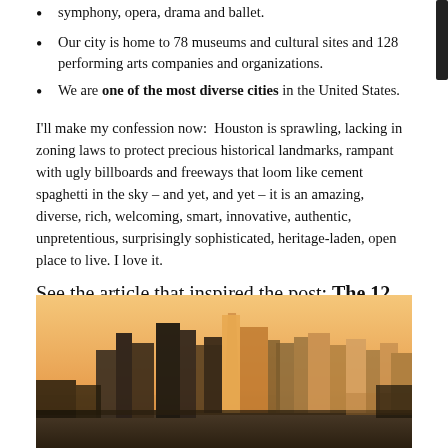symphony, opera, drama and ballet.
Our city is home to 78 museums and cultural sites and 128 performing arts companies and organizations.
We are one of the most diverse cities in the United States.
I'll make my confession now:  Houston is sprawling, lacking in zoning laws to protect precious historical landmarks, rampant with ugly billboards and freeways that loom like cement spaghetti in the sky – and yet, and yet – it is an amazing, diverse, rich, welcoming, smart, innovative, authentic, unpretentious, surprisingly sophisticated, heritage-laden, open place to live. I love it.
See the article that inspired the post: The 12 cities where you can live large on $60,000
[Figure (photo): Aerial cityscape photograph of Houston, Texas skyline at dusk/sunset with warm orange sky, showing multiple skyscrapers and downtown buildings.]